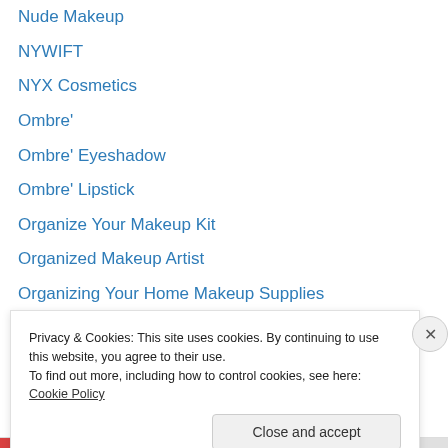Nude Makeup
NYWIFT
NYX Cosmetics
Ombre'
Ombre' Eyeshadow
Ombre' Lipstick
Organize Your Makeup Kit
Organized Makeup Artist
Organizing Your Home Makeup Supplies
Oscar Winning Actress
Oscars
Packing Your Makeup Kit
Passion/ Purpose
Pat McGrath
Privacy & Cookies: This site uses cookies. By continuing to use this website, you agree to their use.
To find out more, including how to control cookies, see here: Cookie Policy
Close and accept